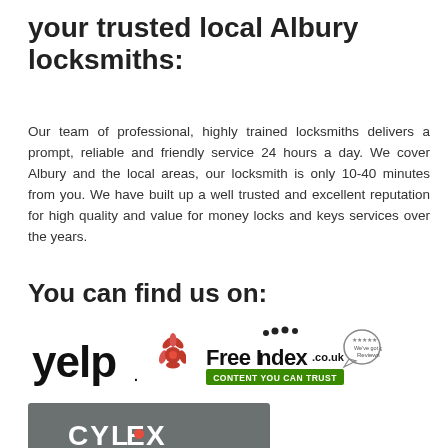your trusted local Albury locksmiths:
Our team of professional, highly trained locksmiths delivers a prompt, reliable and friendly service 24 hours a day. We cover Albury and the local areas, our locksmith is only 10-40 minutes from you. We have built up a well trusted and excellent reputation for high quality and value for money locks and keys services over the years.
You can find us on:
[Figure (logo): Yelp logo — black 'yelp.' text with red burst/flower mark]
[Figure (logo): FreeIndex.co.uk logo with green 'CONTENT YOU CAN TRUST' bar and speech bubble showing 5-star reviews badge]
[Figure (logo): Cylex logo — grey rectangle with white 'CYLEX' text and red dot]